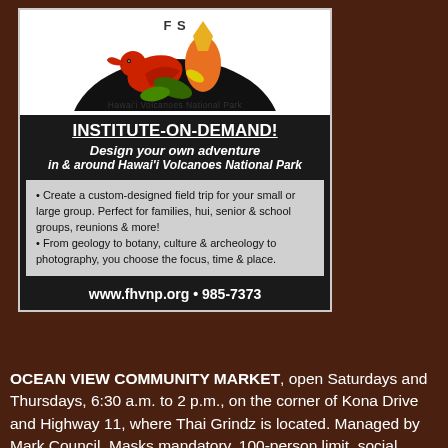[Figure (logo): Friends of Hawai'i Volcanoes National Park logo with red bird and tropical plants on black background]
INSTITUTE-ON-DEMAND!
Design your own adventure in & around Hawai'i Volcanoes National Park
Create a custom-designed field trip for your small or large group. Perfect for families, hui, senior & school groups, reunions & more!
From geology to botany, culture & archeology to photography, you choose the focus, time & place.
www.fhvnp.org • 985-7373
OCEAN VIEW COMMUNITY MARKET, open Saturdays and Thursdays, 6:30 a.m. to 2 p.m., on the corner of Kona Drive and Highway 11, where Thai Grindz is located. Managed by Mark Council. Masks mandatory. 100-person limit, social distancing required. Gate unlocked for vendors at 5:30 a.m., $15 dollars, no reservations needed. Parking in upper lot only. Vendors must provide own sanitizer. Food vendor permits required. Carpooling encouraged.